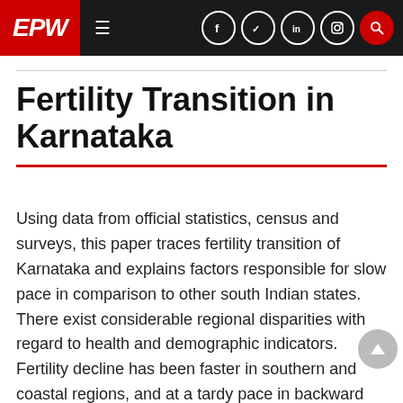EPW
Fertility Transition in Karnataka
Using data from official statistics, census and surveys, this paper traces fertility transition of Karnataka and explains factors responsible for slow pace in comparison to other south Indian states. There exist considerable regional disparities with regard to health and demographic indicators. Fertility decline has been faster in southern and coastal regions, and at a tardy pace in backward northern districts characterised by low literacy, low female